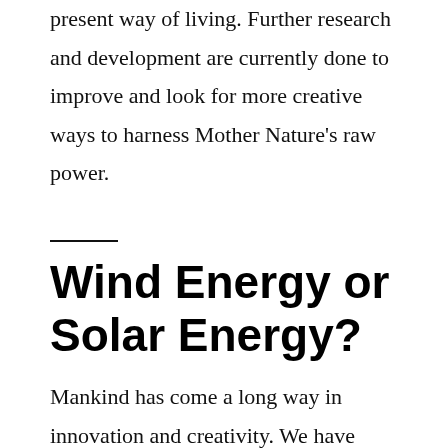present way of living. Further research and development are currently done to improve and look for more creative ways to harness Mother Nature's raw power.
Wind Energy or Solar Energy?
Mankind has come a long way in innovation and creativity. We have virtually conquered land, sea, and air with our endless inventions